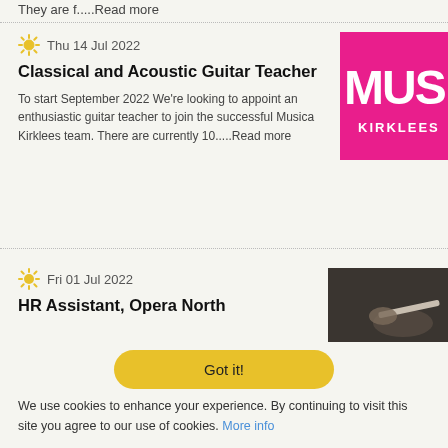They are f.....Read more
Thu 14 Jul 2022
Classical and Acoustic Guitar Teacher
To start September 2022 We're looking to appoint an enthusiastic guitar teacher to join the successful Musica Kirklees team. There are currently 10.....Read more
[Figure (logo): Musica Kirklees logo on pink background]
Fri 01 Jul 2022
HR Assistant, Opera North
[Figure (photo): Conductor's hand holding baton]
Got it!
We use cookies to enhance your experience. By continuing to visit this site you agree to our use of cookies. More info